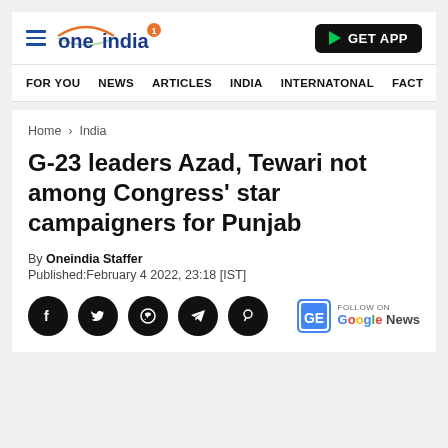oneindia — GET APP
FOR YOU  NEWS  ARTICLES  INDIA  INTERNATONAL  FACT
Home > India
G-23 leaders Azad, Tewari not among Congress' star campaigners for Punjab
By Oneindia Staffer
Published:February 4 2022, 23:18 [IST]
[Figure (other): Social sharing icons: Facebook, Twitter, WhatsApp, Telegram, and another icon; plus Follow on Google News badge]